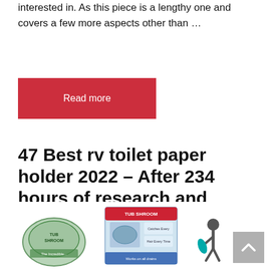interested in. As this piece is a lengthy one and covers a few more aspects other than …
Read more
47 Best rv toilet paper holder 2022 – After 234 hours of research and testing.
July 22, 2022 by Toni Morrison
[Figure (photo): Product images showing TubShroom items and a person illustration, with a scroll-to-top button]